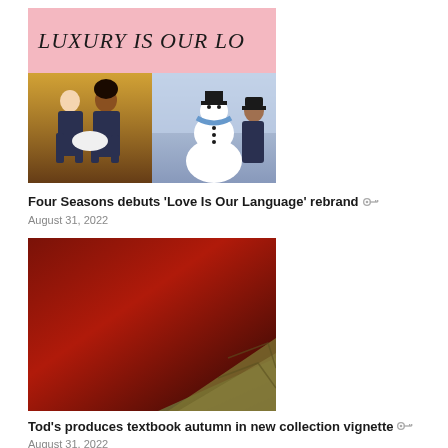[Figure (photo): Four Seasons rebrand image: pink banner with italic text 'LUXURY IS OUR LO' and two photos below — hotel staff on left, man with snowman on right]
Four Seasons debuts 'Love Is Our Language' rebrand
August 31, 2022
[Figure (photo): Tod's collection vignette: dark red/crimson background with olive/khaki jacket visible at bottom right]
Tod's produces textbook autumn in new collection vignette
August 31, 2022